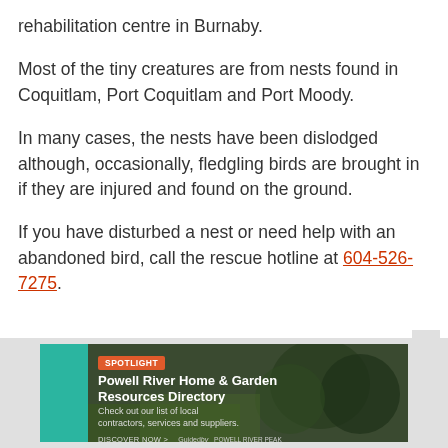rehabilitation centre in Burnaby.
Most of the tiny creatures are from nests found in Coquitlam, Port Coquitlam and Port Moody.
In many cases, the nests have been dislodged although, occasionally, fledgling birds are brought in if they are injured and found on the ground.
If you have disturbed a nest or need help with an abandoned bird, call the rescue hotline at 604-526-7275.
[Figure (infographic): Advertisement banner for Powell River Home & Garden Resources Directory by GuidedBy / Powell River Peak. Shows a SPOTLIGHT badge, title, subtitle text, and DISCOVER NOW call to action.]